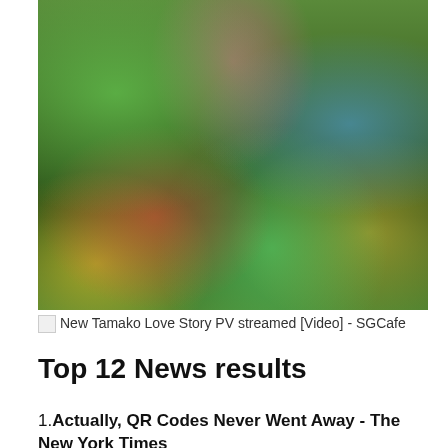[Figure (photo): Three people standing together outdoors on grass, their bodies, arms, legs, and clothing covered in colorful splattered paint (green, pink, blue, red, yellow). They appear to be posing after a color run or paint event.]
New Tamako Love Story PV streamed [Video] - SGCafe
Top 12 News results
1. Actually, QR Codes Never Went Away - The New York Times